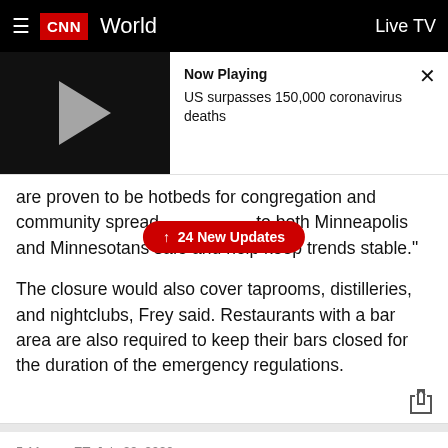CNN World — Live TV
[Figure (screenshot): Video player thumbnail showing play button on black background with 'Now Playing' panel: 'US surpasses 150,000 coronavirus deaths' and a close (X) button]
are proven to be hotbeds for congregation and community spread. [24 New Updates button] to both Minneapolis and Minnesotans safe and help keep trends stable."
The closure would also cover taprooms, distilleries, and nightclubs, Frey said. Restaurants with a bar area are also required to keep their bars closed for the duration of the emergency regulations.
5:11 p.m. ET, July 29, 2020
More than 9,000 new Covid-19 cases